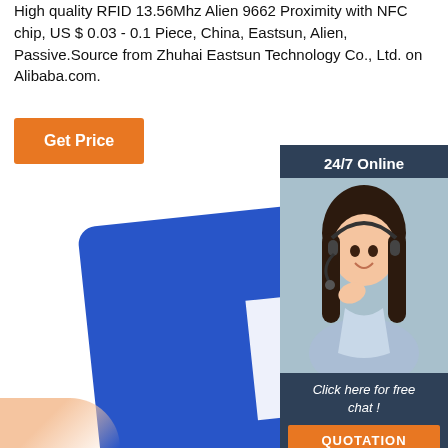High quality RFID 13.56Mhz Alien 9662 Proximity with NFC chip, US $ 0.03 - 0.1 Piece, China, Eastsun, Alien, Passive.Source from Zhuhai Eastsun Technology Co., Ltd. on Alibaba.com.
[Figure (other): Orange 'Get Price' button]
[Figure (other): 24/7 Online chat widget showing a woman with headset, 'Click here for free chat!' text, and orange QUOTATION button]
[Figure (photo): Blue NFC card with white NFC logo symbol in the foreground, with a hand visible at the bottom]
[Figure (other): Red TOP badge with dots arranged in arc above the word TOP]